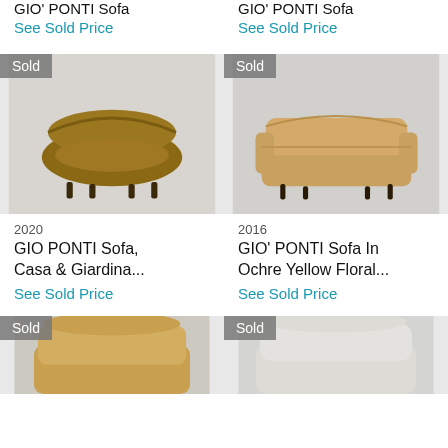GIO' PONTI Sofa
See Sold Price
GIO' PONTI Sofa
See Sold Price
[Figure (photo): Sold badge. Photo of a curved brown/gold velvet sofa on dark legs, mid-century modern style, against light gray background.]
[Figure (photo): Sold badge. Photo of a tan/ochre upholstered sofa on dark thin legs, mid-century modern style, against light gray background.]
2020
GIO PONTI Sofa, Casa & Giardina...
See Sold Price
2016
GIO' PONTI Sofa In Ochre Yellow Floral...
See Sold Price
[Figure (photo): Sold badge. Partial view of a mustard/gold upholstered sofa or chair, bottom of page.]
[Figure (photo): Sold badge. Partial view of a cream/light gray upholstered sofa or armchair, bottom of page.]